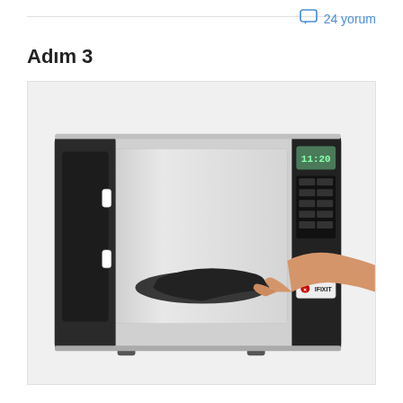24 yorum
Adım 3
[Figure (photo): A microwave oven with its door open, showing a person's hand placing or removing a dark flexible mat or bag inside the microwave cavity. The microwave has a digital display showing 11:20 and an iFixit branded label on the front panel.]